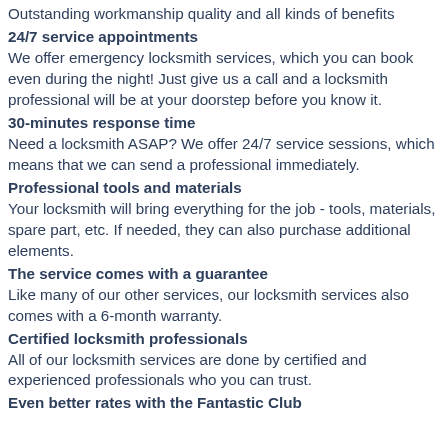Outstanding workmanship quality and all kinds of benefits
24/7 service appointments
We offer emergency locksmith services, which you can book even during the night! Just give us a call and a locksmith professional will be at your doorstep before you know it.
30-minutes response time
Need a locksmith ASAP? We offer 24/7 service sessions, which means that we can send a professional immediately.
Professional tools and materials
Your locksmith will bring everything for the job - tools, materials, spare part, etc. If needed, they can also purchase additional elements.
The service comes with a guarantee
Like many of our other services, our locksmith services also comes with a 6-month warranty.
Certified locksmith professionals
All of our locksmith services are done by certified and experienced professionals who you can trust.
Even better rates with the Fantastic Club